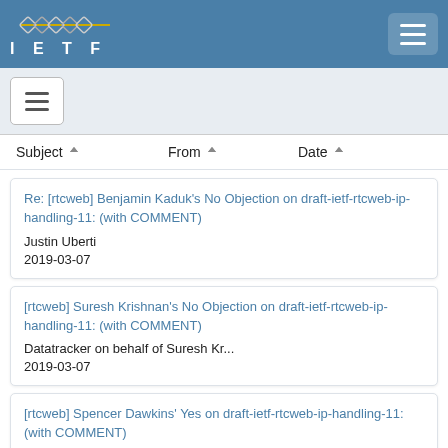IETF
Re: [rtcweb] Benjamin Kaduk's No Objection on draft-ietf-rtcweb-ip-handling-11: (with COMMENT)
Justin Uberti
2019-03-07
[rtcweb] Suresh Krishnan's No Objection on draft-ietf-rtcweb-ip-handling-11: (with COMMENT)
Datatracker on behalf of Suresh Kr...
2019-03-07
[rtcweb] Spencer Dawkins' Yes on draft-ietf-rtcweb-ip-handling-11: (with COMMENT)
Datatracker on behalf of Spencer D...
2019-03-07